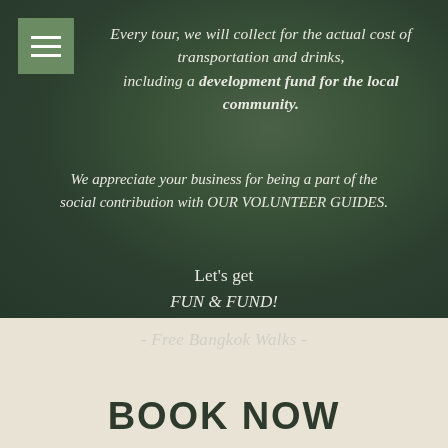[Figure (other): Green blurred foliage background with hamburger menu icon in top-left]
Every tour, we will collect for the actual cost of transportation and drinks, including a development fund for the local community.
We appreciate your business for being a part of the social contribution with OUR VOLUNTEER GUIDES.
Let's get FUN & FUND!
- Free Bangkok Walks -
BOOK NOW